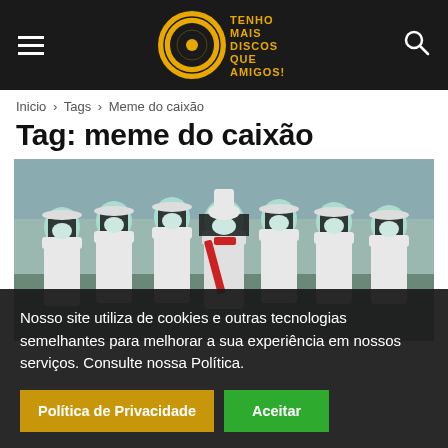TENHO MAIS DISCOS QUE AMIGOS! [site logo and navigation]
Inicio › Tags › Meme do caixão
Tag: meme do caixão
[Figure (photo): Group of people wearing white suits, white hats, and face masks, standing together; one person in center wears a red sash/decoration. Faces are obscured/blacked out.]
Nosso site utiliza de cookies e outras tecnologias semelhantes para melhorar a sua experiência em nossos serviços. Consulte nossa Política.
Política de Privacidade   Aceitar